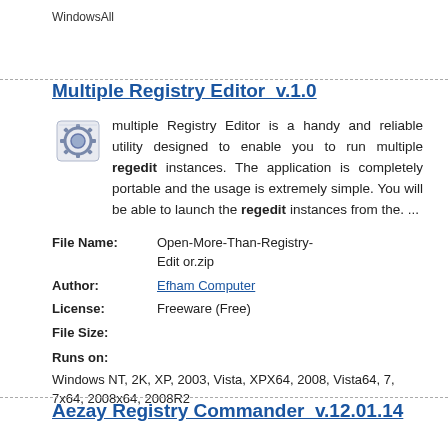WindowsAll
Multiple Registry Editor  v.1.0
multiple Registry Editor is a handy and reliable utility designed to enable you to run multiple regedit instances. The application is completely portable and the usage is extremely simple. You will be able to launch the regedit instances from the. ...
| File Name: | Open-More-Than-Registry-Edit or.zip |
| Author: | Efham Computer |
| License: | Freeware (Free) |
| File Size: |  |
| Runs on: | Windows NT, 2K, XP, 2003, Vista, XPX64, 2008, Vista64, 7, 7x64, 2008x64, 2008R2 |
Aezay Registry Commander  v.12.01.14